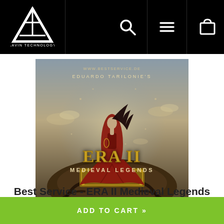AAVIN TECHNOLOGY - navigation header with logo, search, menu, and cart icons
[Figure (illustration): Album cover art for ERA II Medieval Legends by Eduardo Tarilonie. A woman in a flowing red gown stands with her back turned, long dark hair blowing in the wind, set against a dramatic golden-brown fantasy background. The text ERA II and Medieval Legends appears at the bottom in ornate golden lettering.]
Best Service - ERA II Medieval Legends
ADD TO CART »